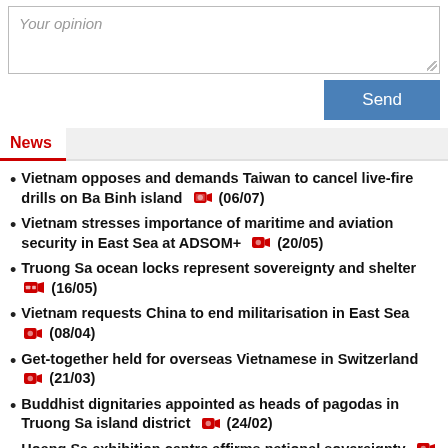Your opinion
Vietnam opposes and demands Taiwan to cancel live-fire drills on Ba Binh island [camera] (06/07)
Vietnam stresses importance of maritime and aviation security in East Sea at ADSOM+ [camera] (20/05)
Truong Sa ocean locks represent sovereignty and shelter [video] (16/05)
Vietnam requests China to end militarisation in East Sea [camera] (08/04)
Get-together held for overseas Vietnamese in Switzerland [camera] (21/03)
Buddhist dignitaries appointed as heads of pagodas in Truong Sa island district [camera] (24/02)
Hoang Sa exhibition centre affirms national sovereignty [camera] (02/02)